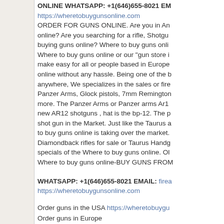ONLINE WHATSAPP: +1(646)655-8021 EM...
https://wheretobuygunsonline.com
ORDER FOR GUNS ONLINE. Are you in A... online? Are you searching for a rifle, Shotgu... buying guns online? Where to buy guns onli... Where to buy guns online or our "gun store i... make easy for all or people based in Europe... online without any hassle. Being one of the b... anywhere, We specializes in the sales or fire... Panzer Arms, Glock pistols, 7mm Remington... more. The Panzer Arms or Panzer arms Ar1... new AR12 shotguns , hat is the bp-12. The p... shot gun in the Market. Just like the Taurus a... to buy guns online is taking over the market. Diamondback rifles for sale or Taurus Handg... specials of the Where to buy guns online. Ol... Where to buy guns online-BUY GUNS FROM...
WHATSAPP: +1(646)655-8021 EMAIL: firea...
https://wheretobuygunsonline.com
Order guns in the USA https://wheretobuygu...
Order guns in Europe
Buy Guns in the USA
Buy guns in Europe